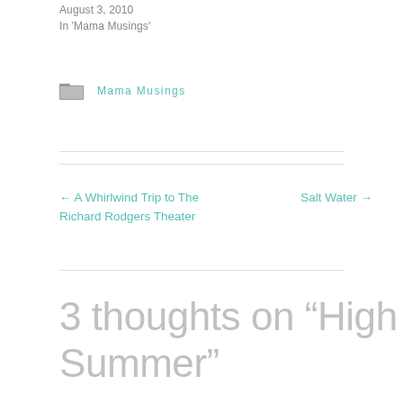August 3, 2010
In 'Mama Musings'
Mama Musings
← A Whirlwind Trip to The Richard Rodgers Theater
Salt Water →
3 thoughts on “High Summer”